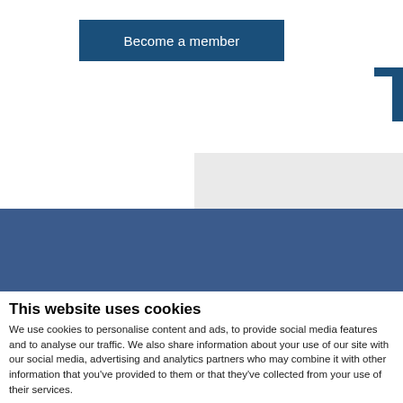[Figure (other): Blue 'Become a member' button on white background]
[Figure (logo): Dark blue L-shaped corner logo element in top right]
[Figure (other): Gray rectangle area and dark blue banner background]
This website uses cookies
We use cookies to personalise content and ads, to provide social media features and to analyse our traffic. We also share information about your use of our site with our social media, advertising and analytics partners who may combine it with other information that you've provided to them or that they've collected from your use of their services.
Deny | Allow selection | Allow all
Necessary  Preferences  Statistics  Marketing  Show details